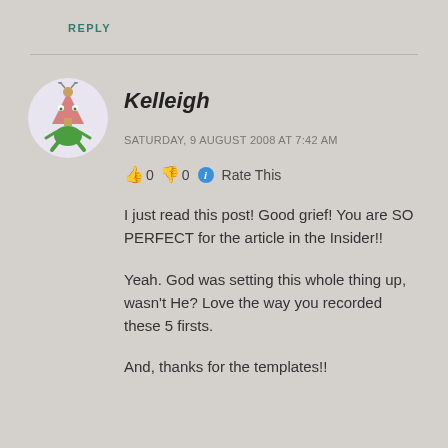REPLY
Kelleigh
SATURDAY, 9 AUGUST 2008 AT 7:42 AM
👍 0 👎 0 ℹ Rate This
I just read this post! Good grief! You are SO PERFECT for the article in the Insider!!
Yeah. God was setting this whole thing up, wasn't He? Love the way you recorded these 5 firsts.
And, thanks for the templates!!